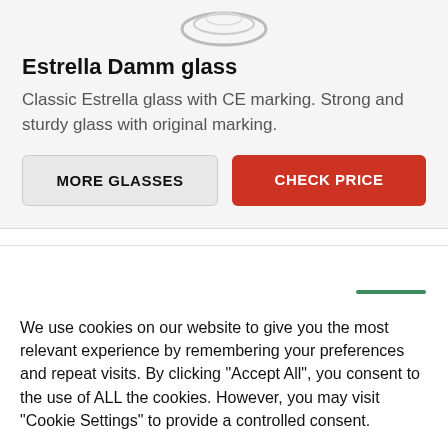[Figure (photo): Partial view of Estrella Damm glass at top of card]
Estrella Damm glass
Classic Estrella glass with CE marking. Strong and sturdy glass with original marking.
MORE GLASSES | CHECK PRICE (buttons)
We use cookies on our website to give you the most relevant experience by remembering your preferences and repeat visits. By clicking "Accept All", you consent to the use of ALL the cookies. However, you may visit "Cookie Settings" to provide a controlled consent.
Cookie Settings | Accept All (buttons)